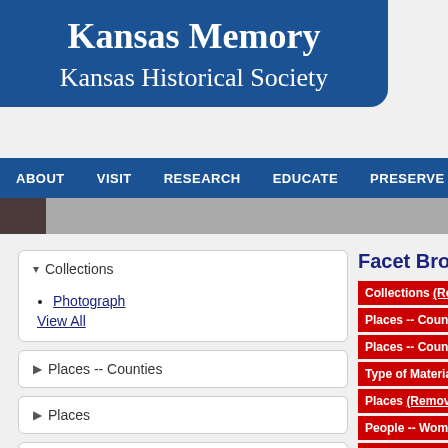Kansas Memory
Kansas Historical Society
ABOUT  VISIT  RESEARCH  EDUCATE  PRESERVE
Facet Browse
Collections
• Photograph
View All
Places -- Counties
Places
Business and Industry
Built Environment
Community Life
Collections (Remove)
Places -- Counties --
Places -- Counties (R)
Type of Material -- Ph
Places (Remove)
People -- Women (Re
Business and Industry
Page 1 of 1, showing
<< previous| | next >>